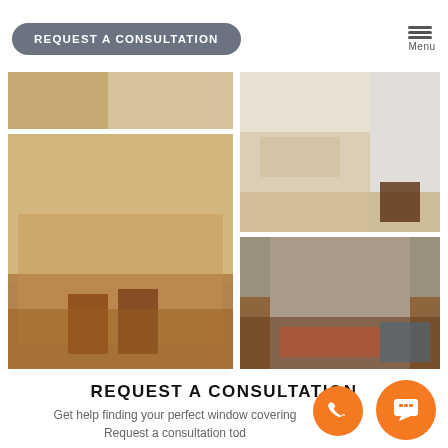[Figure (screenshot): Navigation button with text REQUEST A CONSULTATION on grey rounded pill shape]
[Figure (screenshot): Hamburger menu icon with three horizontal lines and label Menu]
[Figure (photo): Interior room photo showing partial hardwood floor and tiles - top left]
[Figure (photo): Interior room with roller shades on large window, dark wood credenza with decorative vases]
[Figure (photo): Living room with vertical blinds and dog standing on rug]
[Figure (photo): Modern living room with cellular shades on large windows, colorful rug]
REQUEST A CONSULTATION
Get help finding your perfect window covering
Request a consultation tod